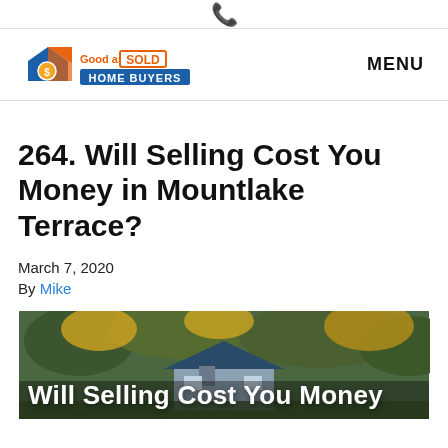☎ [phone icon]
[Figure (logo): Good as Sold Home Buyers logo with house icon, orange and blue branding]
MENU
264. Will Selling Cost You Money in Mountlake Terrace?
March 7, 2020
By Mike
[Figure (photo): Aerial view of a house with trees, with white bold text overlay reading 'Will Selling Cost You Money']